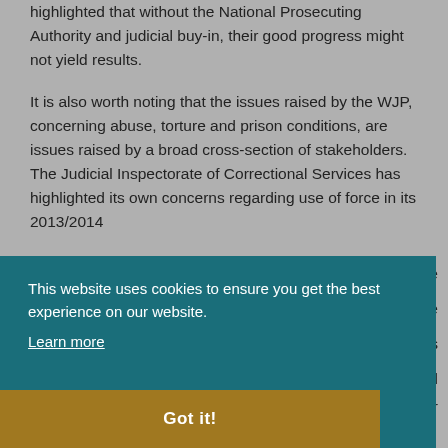highlighted that without the National Prosecuting Authority and judicial buy-in, their good progress might not yield results.
It is also worth noting that the issues raised by the WJP, concerning abuse, torture and prison conditions, are issues raised by a broad cross-section of stakeholders. The Judicial Inspectorate of Correctional Services has highlighted its own concerns regarding use of force in its 2013/2014
ice ave ss ted er 2014.